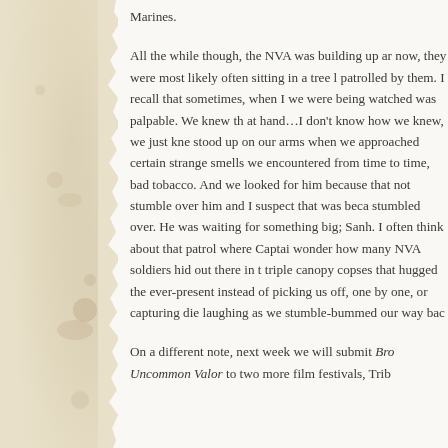Marines.
All the while though, the NVA was building up ar now, they were most likely often sitting in a tree l patrolled by them. I recall that sometimes, when I we were being watched was palpable. We knew th at hand…I don't know how we knew, we just kne stood up on our arms when we approached certain strange smells we encountered from time to time, bad tobacco. And we looked for him because that not stumble over him and I suspect that was beca stumbled over. He was waiting for something big; Sanh. I often think about that patrol where Captai wonder how many NVA soldiers hid out there in t triple canopy copses that hugged the ever-present instead of picking us off, one by one, or capturing die laughing as we stumble-bummed our way bac
On a different note, next week we will submit Bro Uncommon Valor to two more film festivals, Trib